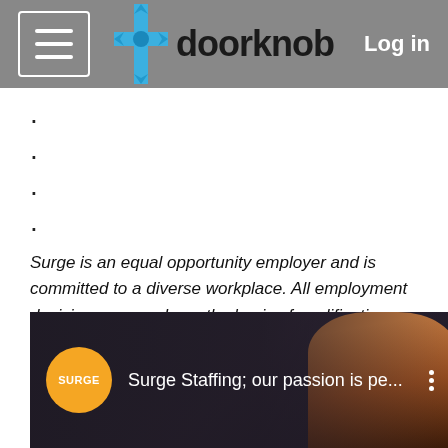doorknob | Log in
.
.
.
.
Surge is an equal opportunity employer and is committed to a diverse workplace. All employment decisions are made on the basis of qualifications, merit, and business need, without regard to race, color, religion, sex, sexual orientation, gender identity, national origin, disability, or veteran status.
[Figure (screenshot): YouTube video thumbnail showing Surge Staffing logo circle in orange and video title 'Surge Staffing; our passion is pe...' with a person visible in background]